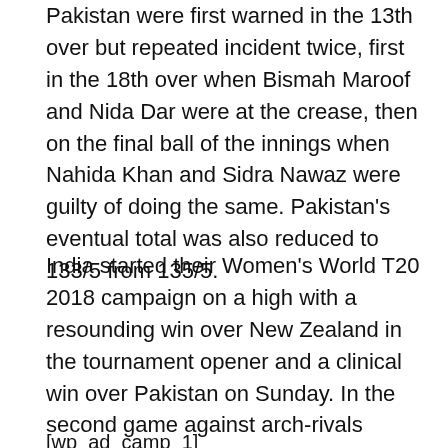Pakistan were first warned in the 13th over but repeated incident twice, first in the 18th over when Bismah Maroof and Nida Dar were at the crease, then on the final ball of the innings when Nahida Khan and Sidra Nawaz were guilty of doing the same. Pakistan's eventual total was also reduced to 133/5 from 135/5.
India started their Women's World T20 2018 campaign on a high with a resounding win over New Zealand in the tournament opener and a clinical win over Pakistan on Sunday. In the second game against arch-rivals Pakistan, India elected to bowl first on winning the toss. Bismah Maroof and Nida Dar scored fifties after they were reduced to 30/3. The 93-run fourth wicket partnership helped Pakistan Women finish on 133/7.
[wp_ad_camp_1]